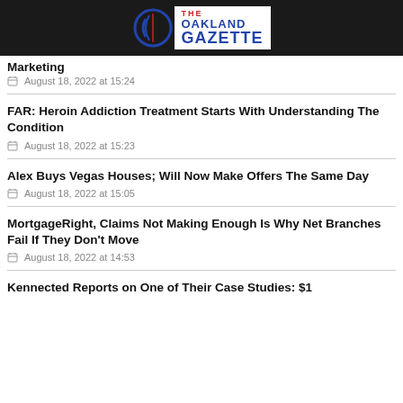The Oakland Gazette
Marketing
August 18, 2022 at 15:24
FAR: Heroin Addiction Treatment Starts With Understanding The Condition
August 18, 2022 at 15:23
Alex Buys Vegas Houses; Will Now Make Offers The Same Day
August 18, 2022 at 15:05
MortgageRight, Claims Not Making Enough Is Why Net Branches Fail If They Don't Move
August 18, 2022 at 14:53
Kennected Reports on One of Their Case Studies: $1